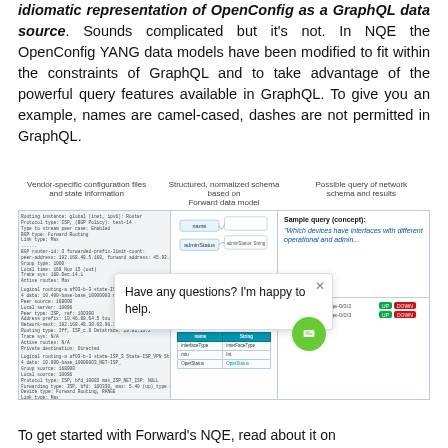idiomatic representation of OpenConfig as a GraphQL data source. Sounds complicated but it's not. In NQE the OpenConfig YANG data models have been modified to fit within the constraints of GraphQL and to take advantage of the powerful query features available in GraphQL. To give you an example, names are camel-cased, dashes are not permitted in GraphQL.
[Figure (screenshot): Three-panel diagram showing: left panel with vendor-specific configuration files and state information (code/config text), middle panel with structured normalized schema based on Forward data model (schema boxes and table), right panel with possible query of network schema and results (sample query concept and status results). A chat overlay widget is shown on top saying 'Have any questions? I'm happy to help.']
To get started with Forward's NQE, read about it on